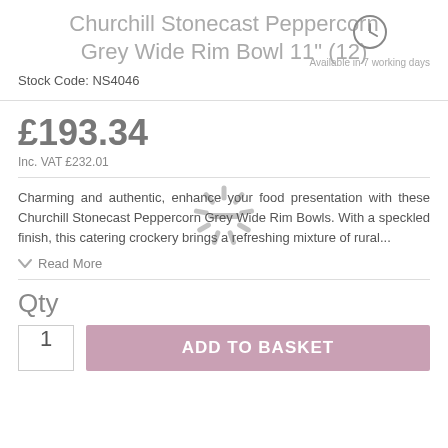Churchill Stonecast Peppercorn Grey Wide Rim Bowl 11" (12)
Stock Code: NS4046
Available in 7 working days
£193.34
Inc. VAT £232.01
Charming and authentic, enhance your food presentation with these Churchill Stonecast Peppercorn Grey Wide Rim Bowls. With a speckled finish, this catering crockery brings a refreshing mixture of rural...
Read More
Qty
1
ADD TO BASKET